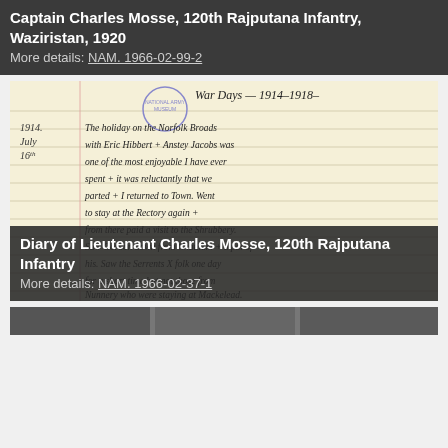Captain Charles Mosse, 120th Rajputana Infantry, Waziristan, 1920
More details: NAM. 1966-02-99-2
[Figure (photo): Handwritten diary page titled 'War Days - 1914-1918-' with dated entries starting 1914 July 16th describing a holiday on the Norfolk Broads with Eric Hibbert and Anstey Jacobs, and entry for 17th about seeing Gordon down from Chatham]
Diary of Lieutenant Charles Mosse, 120th Rajputana Infantry
More details: NAM. 1966-02-37-1
[Figure (photo): Partial view of another photograph at the bottom of the page, mostly cut off]